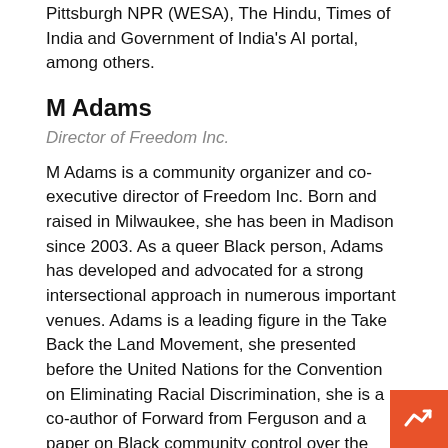Pittsburgh NPR (WESA), The Hindu, Times of India and Government of India's AI portal, among others.
M Adams
Director of Freedom Inc.
M Adams is a community organizer and co-executive director of Freedom Inc. Born and raised in Milwaukee, she has been in Madison since 2003. As a queer Black person, Adams has developed and advocated for a strong intersectional approach in numerous important venues. Adams is a leading figure in the Take Back the Land Movement, she presented before the United Nations for the Convention on Eliminating Racial Discrimination, she is a co-author of Forward from Ferguson and a paper on Black community control over the police, and she author to intersectionality theory in Why Killing Unarmed Black folks is a Queer issue.
Shiva Bidar-Sielaff
UW Health Chief Diversity Officer
Shiva Bidar serves as Vice President and Chief Diversity Of leading the overall vision, coordination and strategic leade